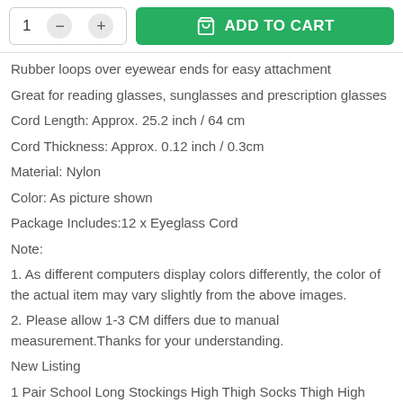[Figure (other): Add to cart UI bar with quantity selector (1, minus, plus buttons) and green ADD TO CART button with cart icon]
Rubber loops over eyewear ends for easy attachment
Great for reading glasses, sunglasses and prescription glasses
Cord Length: Approx. 25.2 inch / 64 cm
Cord Thickness: Approx. 0.12 inch / 0.3cm
Material: Nylon
Color: As picture shown
Package Includes:12 x Eyeglass Cord
Note:
1. As different computers display colors differently, the color of the actual item may vary slightly from the above images.
2. Please allow 1-3 CM differs due to manual measurement.Thanks for your understanding.
New Listing
1 Pair School Long Stockings High Thigh Socks Thigh High Cotton Fashion Socks
6.79 CAD
Free shipping
2x Cute Acetate Cartoon Cat Animal Barrettes Hairpins Hair Clip